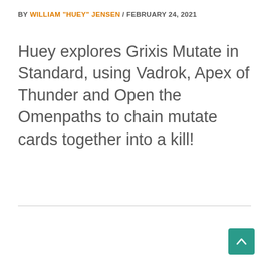BY WILLIAM "HUEY" JENSEN / FEBRUARY 24, 2021
Huey explores Grixis Mutate in Standard, using Vadrok, Apex of Thunder and Open the Omenpaths to chain mutate cards together into a kill!
[Figure (other): Scroll-to-top button (teal square with upward chevron arrow)]